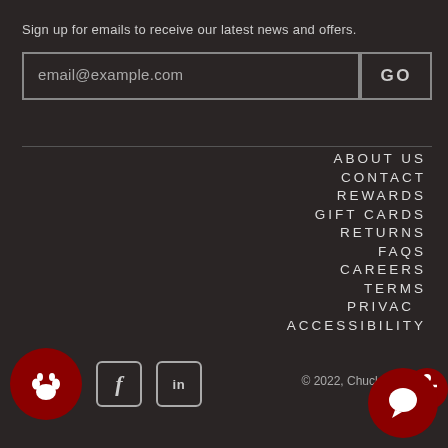Sign up for emails to receive our latest news and offers.
email@example.com
GO
ABOUT US
CONTACT
REWARDS
GIFT CARDS
RETURNS
FAQS
CAREERS
TERMS
PRIVACY
ACCESSIBILITY
© 2022, Chuck & Don's